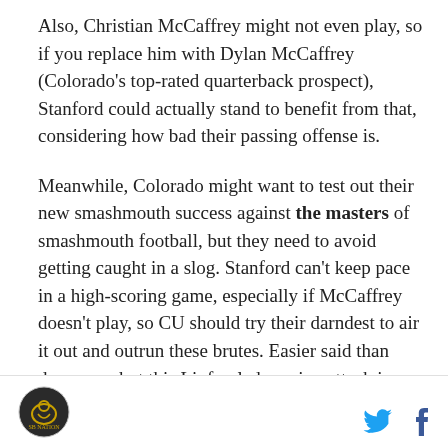Also, Christian McCaffrey might not even play, so if you replace him with Dylan McCaffrey (Colorado's top-rated quarterback prospect), Stanford could actually stand to benefit from that, considering how bad their passing offense is.
Meanwhile, Colorado might want to test out their new smashmouth success against the masters of smashmouth football, but they need to avoid getting caught in a slog. Stanford can't keep pace in a high-scoring game, especially if McCaffrey doesn't play, so CU should try their darndest to air it out and outrun these brutes. Easier said than done, yes, but this Liufau-led passing attack is one of the best in the nation.
[Figure (logo): Circular logo with dark background and stylized figure]
[Figure (other): Twitter and Facebook social media icons in footer]